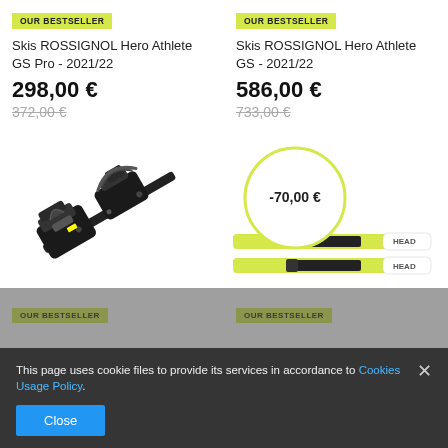OUR BESTSELLER
Skis ROSSIGNOL Hero Athlete GS Pro - 2021/22
298,00 €
372,00 €
OUR BESTSELLER
Skis ROSSIGNOL Hero Athlete GS - 2021/22
586,00 €
733,00 €
[Figure (photo): Ski binding product image – black alpine binding, diagonal orientation]
[Figure (photo): Two yellow/white HEAD skis with a circular discount badge overlaid showing -70,00 €]
OUR BESTSELLER
OUR BESTSELLER
This page uses cookie files to provide its services in accordance to Cookies Usage Policy.
Close